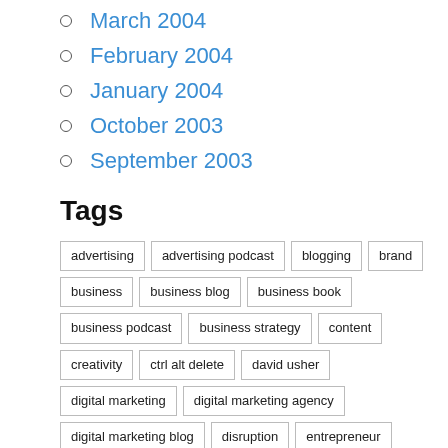March 2004
February 2004
January 2004
October 2003
September 2003
Tags
advertising, advertising podcast, blogging, brand, business, business blog, business book, business podcast, business strategy, content, creativity, ctrl alt delete, david usher, digital marketing, digital marketing agency, digital marketing blog, disruption, entrepreneur